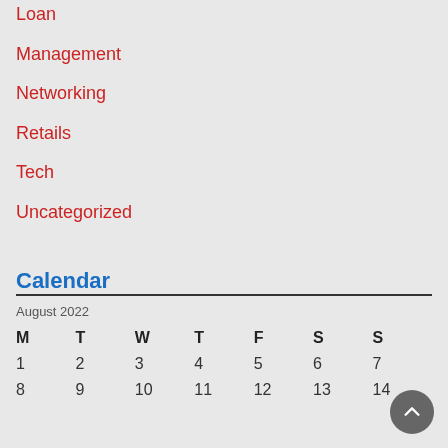Loan
Management
Networking
Retails
Tech
Uncategorized
Calendar
| M | T | W | T | F | S | S |
| --- | --- | --- | --- | --- | --- | --- |
| 1 | 2 | 3 | 4 | 5 | 6 | 7 |
| 8 | 9 | 10 | 11 | 12 | 13 | 14 |